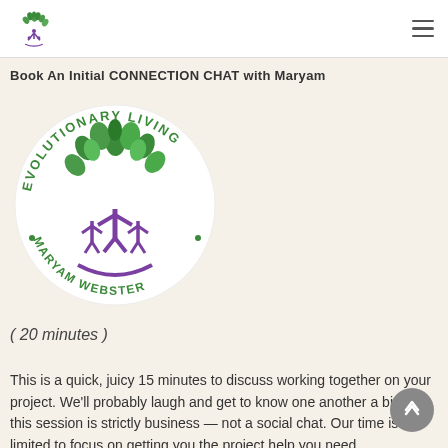Evolutionary Living — Maryam Webster
Book An Initial CONNECTION CHAT with Maryam
[Figure (logo): Circular logo for Evolutionary Living by Maryam Webster, featuring a tree with green leaves and purple human figures beneath it, with a purple arc underline. Text around the circle reads 'EVOLUTIONARY LIVING' at the top and 'MARYAM WEBSTER' at the bottom, with bullet dots separating the name.]
( 20 minutes )
This is a quick, juicy 15 minutes to discuss working together on your project. We'll probably laugh and get to know one another a bit, but this session is strictly business — not a social chat. Our time is limited to focus on getting you the project help you need.